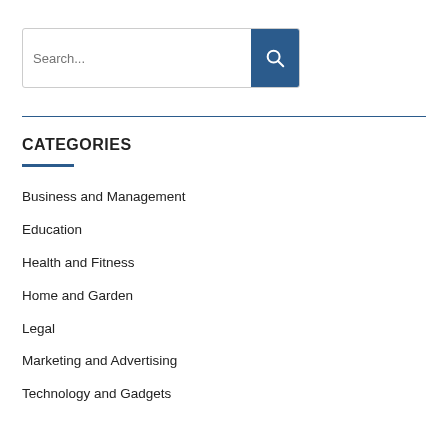Search...
CATEGORIES
Business and Management
Education
Health and Fitness
Home and Garden
Legal
Marketing and Advertising
Technology and Gadgets